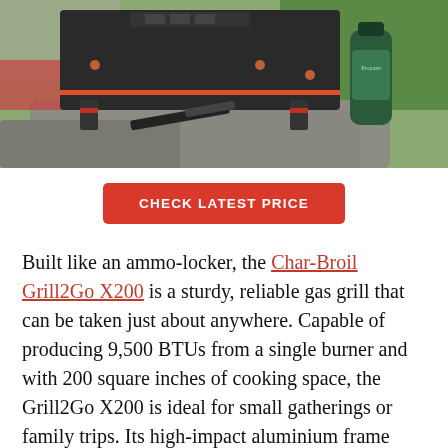[Figure (photo): Char-Broil Grill2Go X200 portable gas grill sitting on rocks outdoors, with a green propane tank on the right side and greenery in the background. A spatula is visible underneath the grill.]
CHECK LATEST PRICE
Built like an ammo-locker, the Char-Broil Grill2Go X200 is a sturdy, reliable gas grill that can be taken just about anywhere. Capable of producing 9,500 BTUs from a single burner and with 200 square inches of cooking space, the Grill2Go X200 is ideal for small gatherings or family trips. Its high-impact aluminium frame means that it can survive any drops,